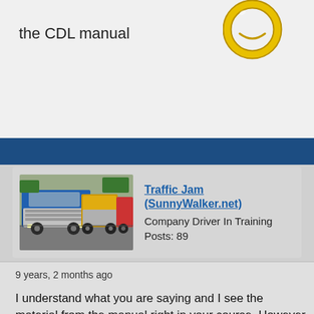the CDL manual
[Figure (illustration): Gold emoji ring/smile icon at top right]
[Figure (photo): Row of semi trucks parked in a lot, including blue and yellow Freightliners]
Traffic Jam (SunnyWalker.net)
Company Driver In Training
Posts: 89
9 years, 2 months ago
I understand what you are saying and I see the material from the manual right in your course. However, being new to the entire industry I think